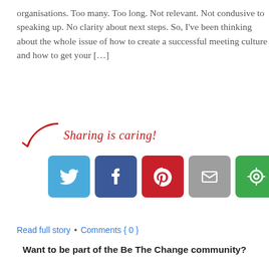organisations. Too many. Too long. Not relevant. Not condusive to speaking up. No clarity about next steps. So, I've been thinking about the whole issue of how to create a successful meeting culture and how to get your [...]
[Figure (infographic): Sharing is caring! text with a red arrow pointing to social media share buttons: Twitter, Facebook, Pinterest, Email, and a sharing app button]
Read full story • Comments { 0 }
Want to be part of the Be The Change community?
Add your details below for occasional emails with tips, guidance and offers to help you thrive in your role as a non-profit leader.